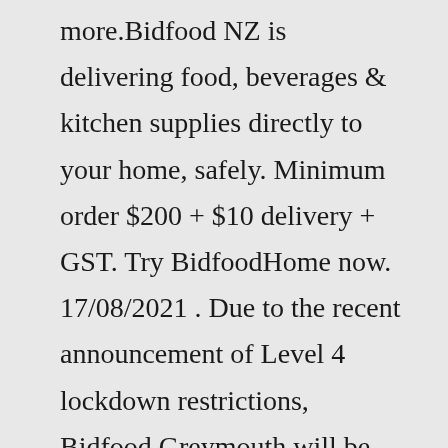more.Bidfood NZ is delivering food, beverages & kitchen supplies directly to your home, safely. Minimum order $200 + $10 delivery + GST. Try BidfoodHome now. 17/08/2021 . Due to the recent announcement of Level 4 lockdown restrictions, Bidfood Greymouth will be open for essential service deliveries only, with normal services to resume on Saturday ...Jun 09, 2022 · 2. Add the metal panels. Always begin working at the point with the